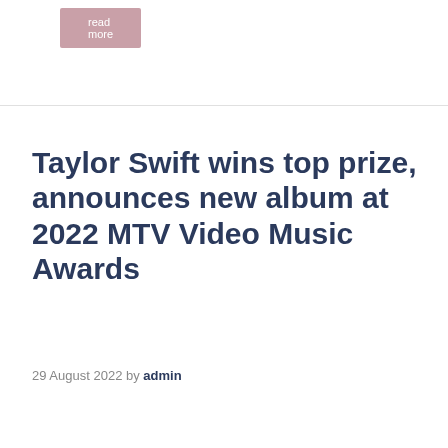Read more
Taylor Swift wins top prize, announces new album at 2022 MTV Video Music Awards
29 August 2022 by admin